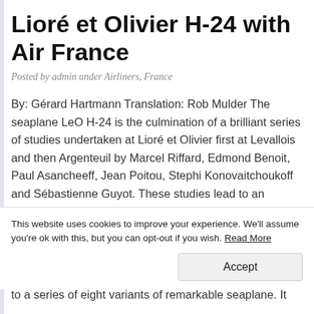Lioré et Olivier H-24 with Air France
Posted by admin under Airliners, France
By: Gérard Hartmann Translation: Rob Mulder The seaplane LeO H-24 is the culmination of a brilliant series of studies undertaken at Lioré et Olivier first at Levallois and then Argenteuil by Marcel Riffard, Edmond Benoit, Paul Asancheeff, Jean Poitou, Stephi Konovaitchoukoff and Sébastienne Guyot. These studies lead to an ultramodern monoplane with an enclosed cabin accommodating ten passengers, and
This website uses cookies to improve your experience. We'll assume you're ok with this, but you can opt-out if you wish. Read More
to a series of eight variants of remarkable seaplane. It